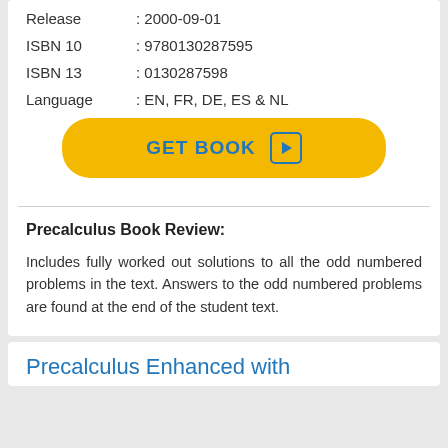Release : 2000-09-01
ISBN 10 : 9780130287595
ISBN 13 : 0130287598
Language : EN, FR, DE, ES & NL
[Figure (other): GET BOOK button with play icon, yellow rounded rectangle background]
Precalculus Book Review:
Includes fully worked out solutions to all the odd numbered problems in the text. Answers to the odd numbered problems are found at the end of the student text.
Precalculus Enhanced with